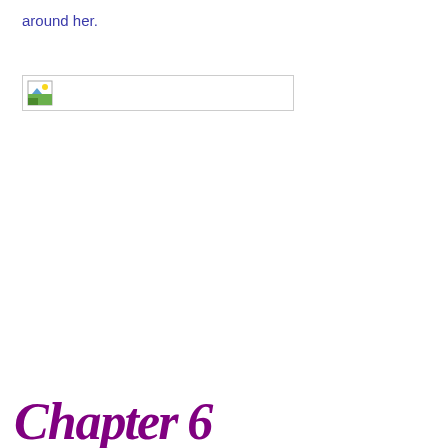around her.
[Figure (photo): Placeholder image icon with a small landscape thumbnail and a wide empty rectangle border]
Cha...6